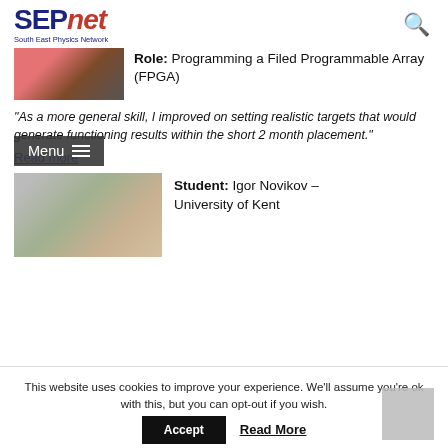SEPnet - South East Physics Network
Role: Programming a Filed Programmable Array (FPGA)
“As a more general skill, I improved on setting realistic targets that would generate functioning results within the short 2 month placement.”
Read more
Student: Igor Novikov – University of Kent
This website uses cookies to improve your experience. We’ll assume you’re ok with this, but you can opt-out if you wish.
Accept   Read More